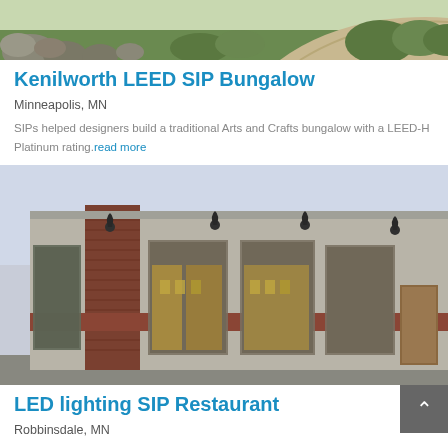[Figure (photo): Outdoor landscape photo showing rocks, greenery, and a stone pathway at the top of the page]
Kenilworth LEED SIP Bungalow
Minneapolis, MN
SIPs helped designers build a traditional Arts and Crafts bungalow with a LEED-H Platinum rating. read more
[Figure (photo): Exterior photo of a modern commercial building with brick and stucco facade, large windows, and wall-mounted lights at dusk]
LED lighting SIP Restaurant
Robbinsdale, MN